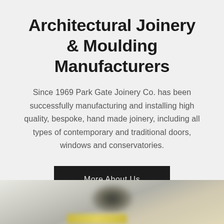Architectural Joinery & Moulding Manufacturers
Since 1969 Park Gate Joinery Co. has been successfully manufacturing and installing high quality, bespoke, hand made joinery, including all types of contemporary and traditional doors, windows and conservatories.
More About Us
[Figure (photo): Blurred photograph of a joinery product, partially visible at the bottom of the page]